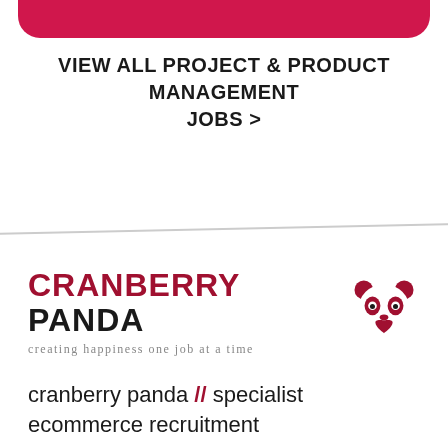[Figure (other): Red rounded button/banner at top of page]
VIEW ALL PROJECT & PRODUCT MANAGEMENT JOBS >
[Figure (logo): Cranberry Panda logo with panda icon and tagline 'creating happiness one job at a time']
cranberry panda // specialist ecommerce recruitment